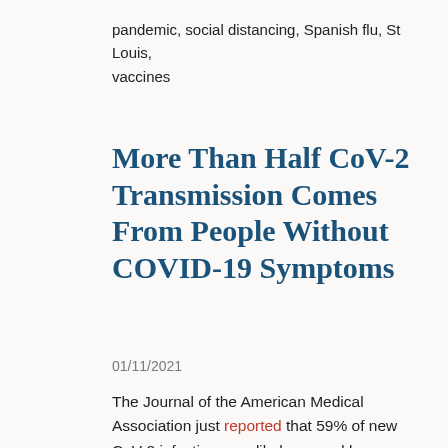pandemic, social distancing, Spanish flu, St Louis, vaccines
More Than Half CoV-2 Transmission Comes From People Without COVID-19 Symptoms
01/11/2021
The Journal of the American Medical Association just reported that 59% of new CoV-2 infections are likely caused by infected people who do not show COVID-19 symptoms. This conclusion is based on